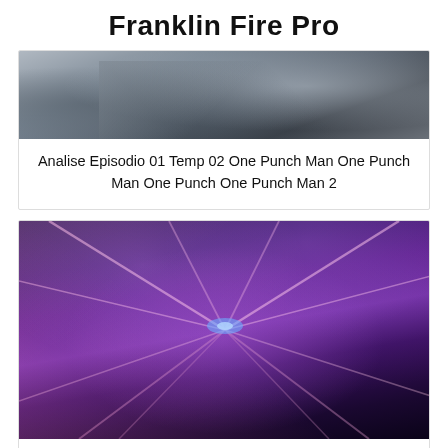Franklin Fire Pro
[Figure (photo): Anime/mecha screenshot showing a silver/grey armored character, partial view, dark background]
Analise Episodio 01 Temp 02 One Punch Man One Punch Man One Punch One Punch Man 2
[Figure (photo): Anime screenshot showing a purple-toned character with glowing blue eye, surrounded by spike-like energy, dark violet background]
Tokyo Ghoul Root A Episode 12 Screenshots One Punch Man One Punch Man Episodes One Punch